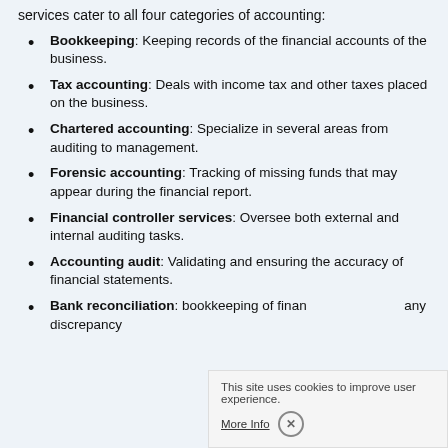services cater to all four categories of accounting:
Bookkeeping: Keeping records of the financial accounts of the business.
Tax accounting: Deals with income tax and other taxes placed on the business.
Chartered accounting: Specialize in several areas from auditing to management.
Forensic accounting: Tracking of missing funds that may appear during the financial report.
Financial controller services: Oversee both external and internal auditing tasks.
Accounting audit: Validating and ensuring the accuracy of financial statements.
Bank reconciliation: bookkeeping of financial statements, any discrepancy